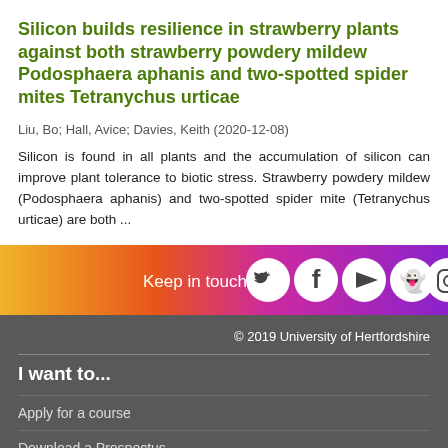Silicon builds resilience in strawberry plants against both strawberry powdery mildew Podosphaera aphanis and two-spotted spider mites Tetranychus urticae
Liu, Bo; Hall, Avice; Davies, Keith (2020-12-08)
Silicon is found in all plants and the accumulation of silicon can improve plant tolerance to biotic stress. Strawberry powdery mildew (Podosphaera aphanis) and two-spotted spider mite (Tetranychus urticae) are both ...
[Figure (infographic): Social media bar with gradient background (yellow to magenta to purple) containing 'Keep in touch' text and social media icons for Twitter, Facebook, YouTube, Snapchat, and Instagram]
© 2019 University of Hertfordshire
I want to...
Apply for a course
Download a Prospectus
Find a job at the University